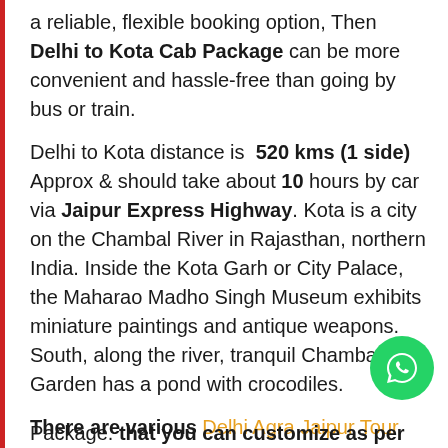a reliable, flexible booking option, Then Delhi to Kota Cab Package can be more convenient and hassle-free than going by bus or train.
Delhi to Kota distance is 520 kms (1 side) Approx & should take about 10 hours by car via Jaipur Express Highway. Kota is a city on the Chambal River in Rajasthan, northern India. Inside the Kota Garh or City Palace, the Maharao Madho Singh Museum exhibits miniature paintings and antique weapons. South, along the river, tranquil Chambal Garden has a pond with crocodiles.
There are various Delhi Agra Jaipur Tour Package that you can customize as per